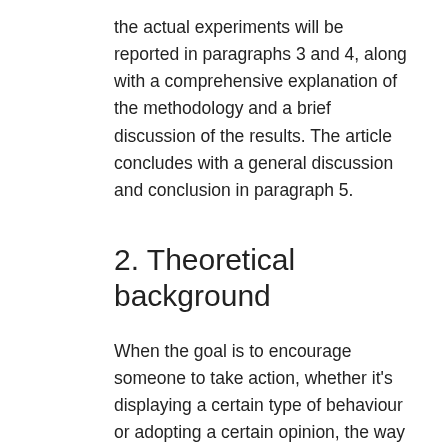the actual experiments will be reported in paragraphs 3 and 4, along with a comprehensive explanation of the methodology and a brief discussion of the results. The article concludes with a general discussion and conclusion in paragraph 5.
2. Theoretical background
When the goal is to encourage someone to take action, whether it's displaying a certain type of behaviour or adopting a certain opinion, the way the message is formulated can make a difference – even though rational decision theory says it shouldn't. Multiple experiments (Kahneman & Tversky, 1984; McNeil, Pauker, Sox Jr, & Tversky, 1982; among others) have shown that the invariance principle from this theory, which claims that the desirability of options doesn't depend on the way they are formulated or the order in which they are presented, doesn't stand the test of reality. As Tversky & Kahneman